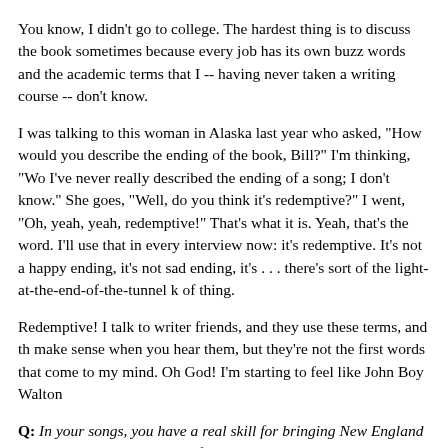You know, I didn't go to college. The hardest thing is to discuss the book sometimes because every job has its own buzz words and the academic terms that I -- having never taken a writing course -- don't know.
I was talking to this woman in Alaska last year who asked, "How would you describe the ending of the book, Bill?" I'm thinking, "Wo I've never really described the ending of a song; I don't know." She goes, "Well, do you think it's redemptive?" I went, "Oh, yeah, yeah, redemptive!" That's what it is. Yeah, that's the word. I'll use that in every interview now: it's redemptive. It's not a happy ending, it's not sad ending, it's . . . there's sort of the light-at-the-end-of-the-tunnel k of thing.
Redemptive! I talk to writer friends, and they use these terms, and th make sense when you hear them, but they're not the first words that come to my mind. Oh God! I'm starting to feel like John Boy Walton
Q: In your songs, you have a real skill for bringing New England places and personalities to life. Was it easier to establish that in the book? In songwriting, you're forced to do that with very, very few images. Whereas in the book you have more territory to work with.
A: Yeah, but you could hang yourself easily with too much time. In songs, you tend to evoke. You have to pick the image that is both vis